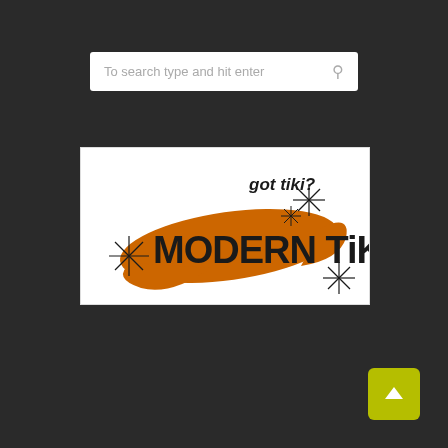To search type and hit enter
[Figure (logo): Modern Tiki logo with orange mid-century boomerang shape, bold black text reading 'got tiki?' and 'MODERN TIKI', with decorative asterisk/starburst ornaments on white background]